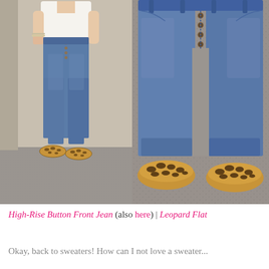[Figure (photo): Two side-by-side photos of a woman wearing high-rise button-front jeans and leopard print flats. Left photo shows full body view in a fitting room. Right photo shows close-up of the button-front waistband detail and leopard flats from a lower angle.]
High-Rise Button Front Jean (also here) | Leopard Flat
Okay, back to sweaters! How can I not love a sweater...